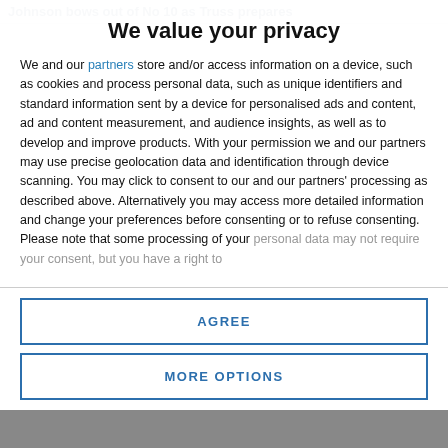Johnson bows out of No 10 as Truss prepares
We value your privacy
We and our partners store and/or access information on a device, such as cookies and process personal data, such as unique identifiers and standard information sent by a device for personalised ads and content, ad and content measurement, and audience insights, as well as to develop and improve products. With your permission we and our partners may use precise geolocation data and identification through device scanning. You may click to consent to our and our partners' processing as described above. Alternatively you may access more detailed information and change your preferences before consenting or to refuse consenting. Please note that some processing of your personal data may not require your consent, but you have a right to
AGREE
MORE OPTIONS